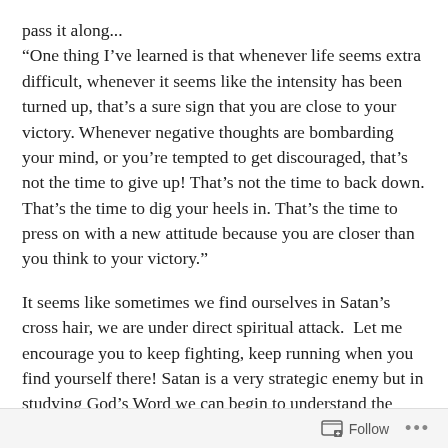pass it along...
“One thing I’ve learned is that whenever life seems extra difficult, whenever it seems like the intensity has been turned up, that’s a sure sign that you are close to your victory. Whenever negative thoughts are bombarding your mind, or you’re tempted to get discouraged, that’s not the time to give up! That’s not the time to back down. That’s the time to dig your heels in. That’s the time to press on with a new attitude because you are closer than you think to your victory.”
It seems like sometimes we find ourselves in Satan’s cross hair, we are under direct spiritual attack.  Let me encourage you to keep fighting, keep running when you find yourself there! Satan is a very strategic enemy but in studying God’s Word we can begin to understand the timing and strategy behind these attacks.  One of the prime times for Satan to attack is immediately before  a great blessing.
Follow ...